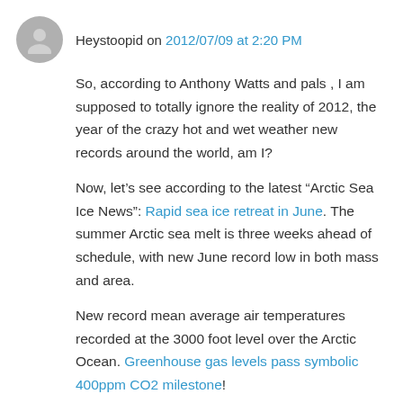Heystoopid on 2012/07/09 at 2:20 PM
So, according to Anthony Watts and pals , I am supposed to totally ignore the reality of 2012, the year of the crazy hot and wet weather new records around the world, am I?
Now, let's see according to the latest “Arctic Sea Ice News”: Rapid sea ice retreat in June. The summer Arctic sea melt is three weeks ahead of schedule, with new June record low in both mass and area.
New record mean average air temperatures recorded at the 3000 foot level over the Arctic Ocean. Greenhouse gas levels pass symbolic 400ppm CO2 milestone!